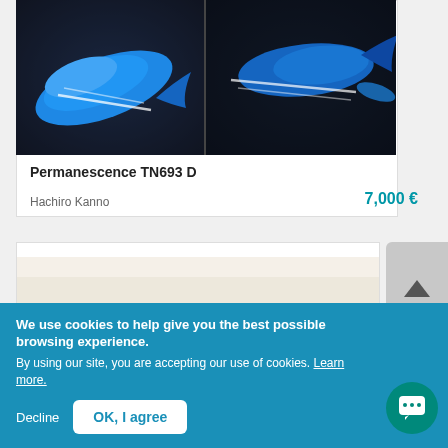[Figure (photo): Diptych artwork showing blue whale/fish shapes on dark background, split into two panels]
Permanescence TN693 D
Hachiro Kanno
7,000 €
[Figure (photo): Partial view of a second artwork card with light beige background]
We use cookies to help give you the best possible browsing experience.
By using our site, you are accepting our use of cookies. Learn more.
Decline
OK, I agree